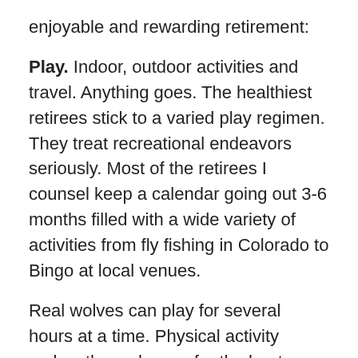enjoyable and rewarding retirement:
Play. Indoor, outdoor activities and travel. Anything goes. The healthiest retirees stick to a varied play regimen. They treat recreational endeavors seriously. Most of the retirees I counsel keep a calendar going out 3-6 months filled with a wide variety of activities from fly fishing in Colorado to Bingo at local venues.
Real wolves can play for several hours at a time. Physical activity makes them sharper for the hunt. Two-legged wolves in a sci-fi drama define play in ways I wouldn’t recommend for retirees (or anyone for that matter.)
For the first several years, many retirees are reluctant to fully embrace recreation. They feel the need to ease into it. Interestingly, new retirees share how they feel ashamed to